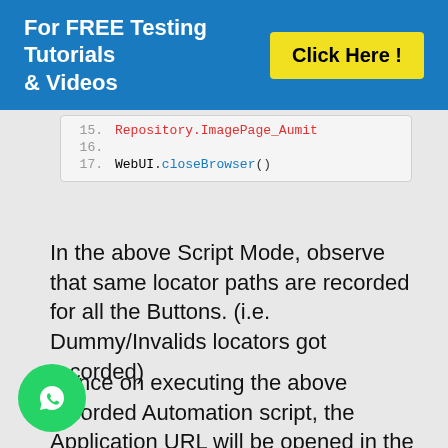For FREE Testing Tutorials & Videos | Click Here !
[Figure (screenshot): Code snippet showing lines 15-17 of a Katalon script. Line 16 is blank, line 17 shows WebUI.closeBrowser(). Line 15 is partially visible showing repository/ImagePage_Aumit or similar in red.]
In the above Script Mode, observe that same locator paths are recorded for all the Buttons. (i.e. Dummy/Invalids locators got recorded)
Hence on executing the above recorded Automation script, the Application URL will be opened in the selected browser, but the Button clicks will be not be performed due to invalid or dummy recorded locators.